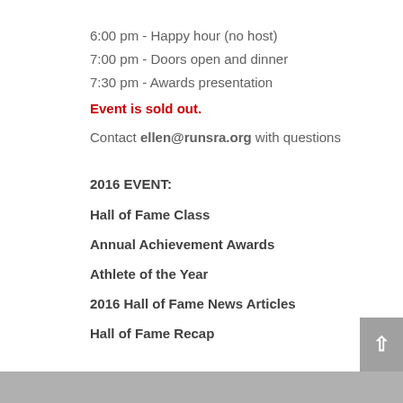6:00 pm - Happy hour (no host)
7:00 pm - Doors open and dinner
7:30 pm - Awards presentation
Event is sold out.
Contact ellen@runsra.org with questions
2016 EVENT:
Hall of Fame Class
Annual Achievement Awards
Athlete of the Year
2016 Hall of Fame News Articles
Hall of Fame Recap
Previous Events